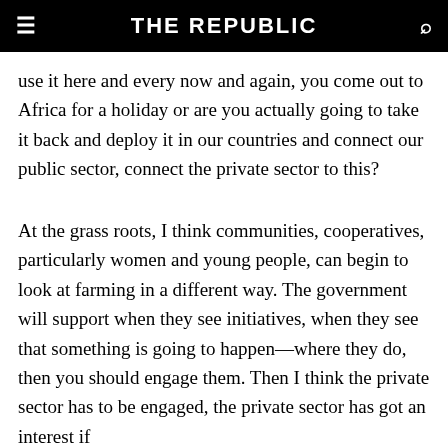THE REPUBLIC
use it here and every now and again, you come out to Africa for a holiday or are you actually going to take it back and deploy it in our countries and connect our public sector, connect the private sector to this?
At the grass roots, I think communities, cooperatives, particularly women and young people, can begin to look at farming in a different way. The government will support when they see initiatives, when they see that something is going to happen—where they do, then you should engage them. Then I think the private sector has to be engaged, the private sector has got an interest if